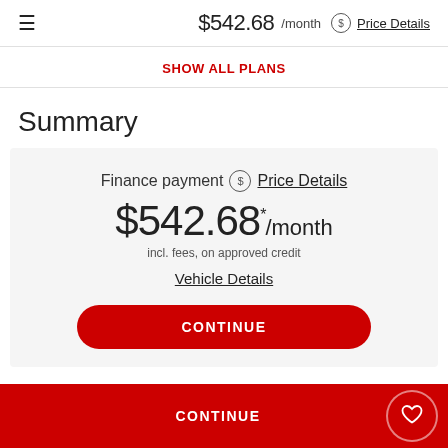$542.68 /month  Price Details
SHOW ALL PLANS
Summary
Finance payment  Price Details
$542.68 */month
incl. fees, on approved credit
Vehicle Details
CONTINUE
CONTINUE